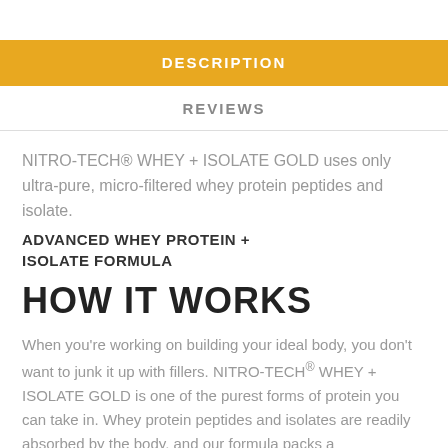DESCRIPTION
REVIEWS
NITRO-TECH® WHEY + ISOLATE GOLD uses only ultra-pure, micro-filtered whey protein peptides and isolate.
ADVANCED WHEY PROTEIN + ISOLATE FORMULA
HOW IT WORKS
When you're working on building your ideal body, you don't want to junk it up with fillers. NITRO-TECH® WHEY + ISOLATE GOLD is one of the purest forms of protein you can take in. Whey protein peptides and isolates are readily absorbed by the body, and our formula packs a